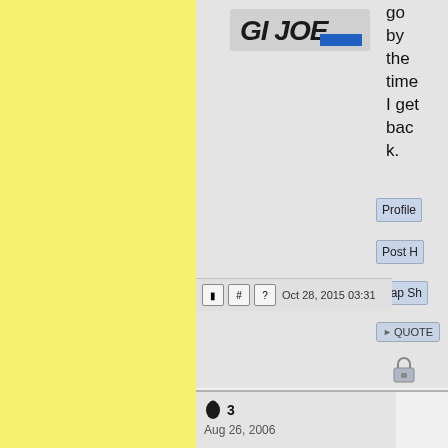[Figure (logo): GI Joe logo with blue stripe]
go by the time I get back.
Oct 28, 2015 03:31
Profile
Post H
Rap Sh
QUOTE
3
Aug 26, 2006